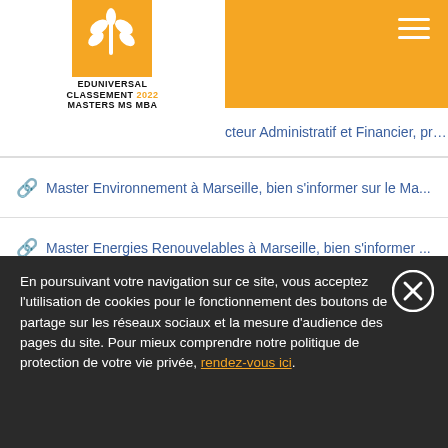Eduniversal Classement 2022 Masters MS MBA
Master Environnement à Marseille, bien s'informer sur le Ma...
Master Energies Renouvelables à Marseille, bien s'informer ...
Master Projet Humanitaire à Marseille, bien s'informer sur le...
Master Hôtellerie à Marseille, bien s'informer sur le Master ...
Master Informatique à Marseille, bien s'informer sur le Mast...
Master Mode à Marseille, bien s'informer sur le Master Mode
En poursuivant votre navigation sur ce site, vous acceptez l'utilisation de cookies pour le fonctionnement des boutons de partage sur les réseaux sociaux et la mesure d'audience des pages du site. Pour mieux comprendre notre politique de protection de votre vie privée, rendez-vous ici.